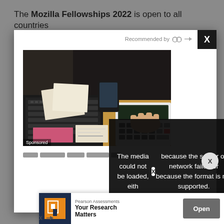The Mozilla Fellowships 2022 is open to all countries
[Figure (screenshot): Modal popup with advertisement showing a person using a calculator and laptop. Contains 'Recommended by' label and close button (X). Also contains an error overlay: 'The media could not be loaded, either because the server or network failed or because the format is not supported.']
Sponsored
The media could not be loaded, either because the server or network failed or because the format is not supported.
Sch
[Figure (screenshot): Bottom advertisement banner: Pearson Assessments - 'Your Research Matters' with Open button]